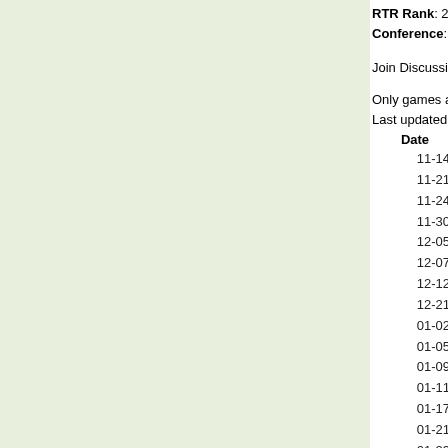RTR Rank: 270   RTR SOS Rank: 112   Record: 2-7 (0-
Conference: Southern
Join Discussion now in Virginia Military Keydets Messa...
Only games against Division I opponents are counted.
Last updated: Sun Jan 3 07:10:02 PST 2016 (update every
| Date | Opponent |
| --- | --- |
| 11-14 | at Penn St. |
| 11-21 | at Virginia Tech |
| 11-24 | Presbyterian |
| 11-30 | at Campbell |
| 12-05 | at Ohio St. |
| 12-07 | at Butler |
| 12-12 | Navy |
| 12-21 | at Gardner-Webb |
| 01-02 | at Furman |
| 01-05 | Wofford |
| 01-09 | at Western Carolina |
| 01-11 | at E. Tennessee St. |
| 01-17 | at N.C. Greensboro |
| 01-21 | Samford |
| 01-23 | Chattanooga |
| 01-25 | Furman |
| 01-28 | at Mercer |
| 01-30 | at Citadel |
| 02-04 | E. Tennessee St. |
| 02-06 | Western Carolina |
| 02-08 | at Wofford |
| 02-11 | N.C. Greensboro |
| 02-18 | at Chattanooga |
| 02-20 | at Samford |
| 02-25 | Mercer |
| 02-27 | Citadel |